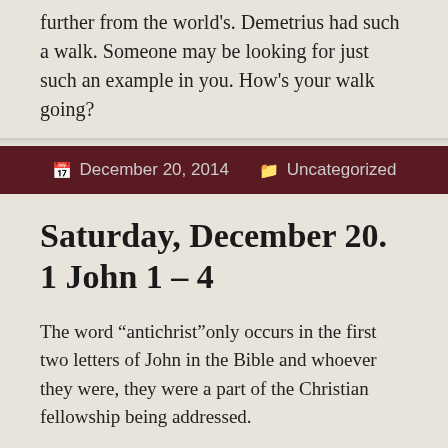further from the world's. Demetrius had such a walk. Someone may be looking for just such an example in you. How's your walk going?
December 20, 2014   Uncategorized
Saturday, December 20. 1 John 1 – 4
The word “antichrist”only occurs in the first two letters of John in the Bible and whoever they were, they were a part of the Christian fellowship being addressed.
Popular religious preachers and authors commonly describe “the antichrist” as some world leader, a messenger empowered by Satan, who has yet to